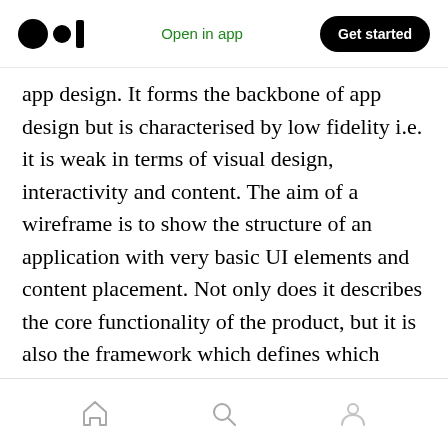Open in app | Get started
app design. It forms the backbone of app design but is characterised by low fidelity i.e. it is weak in terms of visual design, interactivity and content. The aim of a wireframe is to show the structure of an application with very basic UI elements and content placement. Not only does it describes the core functionality of the product, but it is also the framework which defines which elements are placed where on an app and how they work together. It is an essential stage of the pre-development process, which shows the logic behind the app product. It elucidates the functional side of an app and brings a certain
Home | Search | Profile